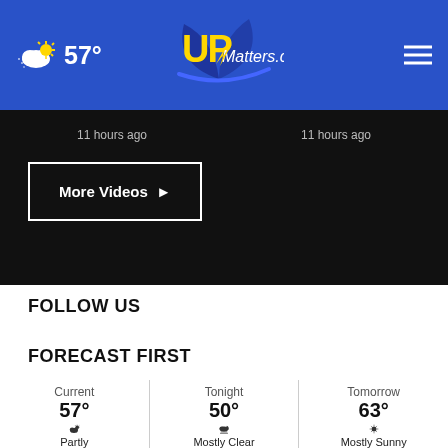57° UPMatters.com
11 hours ago   11 hours ago
More Videos ▶
FOLLOW US
FORECAST FIRST
Current 57° Partly
Tonight 50° Mostly Clear
Tomorrow 63° Mostly Sunny